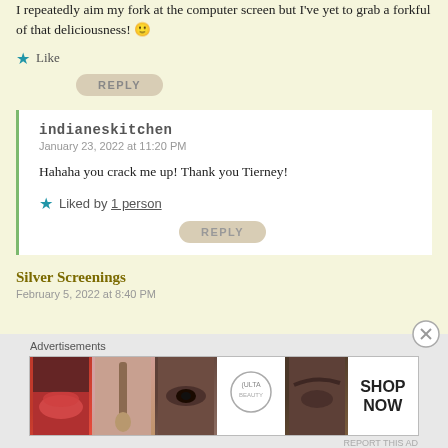I repeatedly aim my fork at the computer screen but I've yet to grab a forkful of that deliciousness! 🙂
★ Like
REPLY
indianeskitchen
January 23, 2022 at 11:20 PM
Hahaha you crack me up! Thank you Tierney!
★ Liked by 1 person
REPLY
Silver Screenings
February 5, 2022 at 8:40 PM
Advertisements
[Figure (photo): Advertisement banner for Ulta Beauty showing makeup imagery with text SHOP NOW]